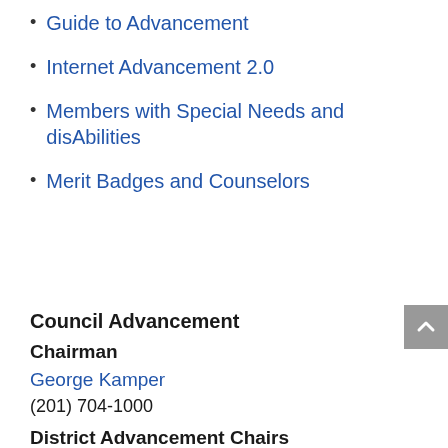Guide to Advancement
Internet Advancement 2.0
Members with Special Needs and disAbilities
Merit Badges and Counselors
Council Advancement
Chairman
George Kamper
(201) 704-1000
District Advancement Chairs